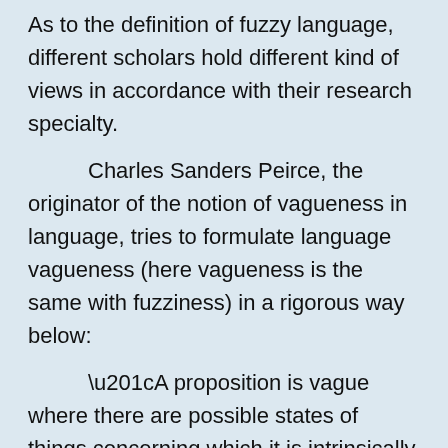As to the definition of fuzzy language, different scholars hold different kind of views in accordance with their research specialty. Charles Sanders Peirce, the originator of the notion of vagueness in language, tries to formulate language vagueness (here vagueness is the same with fuzziness) in a rigorous way below: “A proposition is vague where there are possible states of things concerning which it is intrinsically uncertain, whether had they been contemplated by the speaker, he would have regarded them as excluded or allowed by the proposition. By intrinsically uncertain we mean not